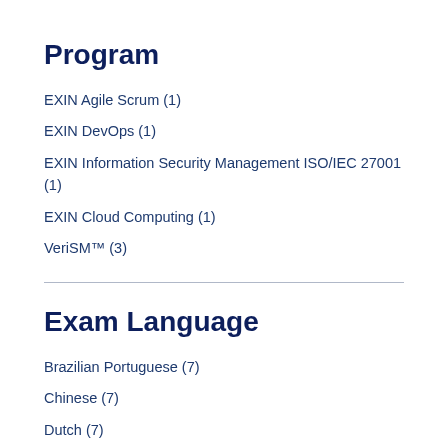Program
EXIN Agile Scrum (1)
EXIN DevOps (1)
EXIN Information Security Management ISO/IEC 27001 (1)
EXIN Cloud Computing (1)
VeriSM™ (3)
Exam Language
Brazilian Portuguese (7)
Chinese (7)
Dutch (7)